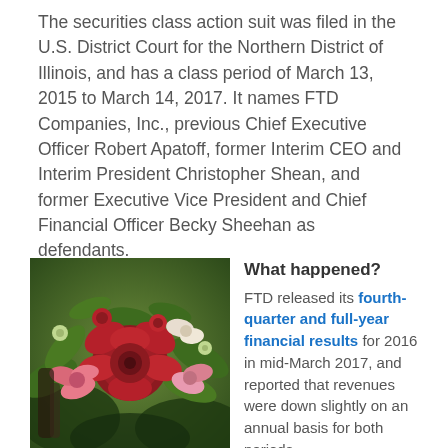The securities class action suit was filed in the U.S. District Court for the Northern District of Illinois, and has a class period of March 13, 2015 to March 14, 2017. It names FTD Companies, Inc., previous Chief Executive Officer Robert Apatoff, former Interim CEO and Interim President Christopher Shean, and former Executive Vice President and Chief Financial Officer Becky Sheehan as defendants.
[Figure (photo): A photo of a flower bouquet with red, pink, and green flowers — representing the flower delivery company FTD.]
The flower delivery company FTD is facing a securities class action.
What happened? FTD released its fourth-quarter and full-year financial results for 2016 in mid-March 2017, and reported that revenues were down slightly on an annual basis for both periods